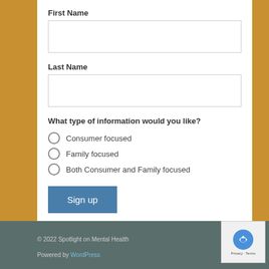First Name
Last Name
What type of information would you like?
Consumer focused
Family focused
Both Consumer and Family focused
Sign up
© 2022 Spotlight on Mental Health
Powered by WordPress